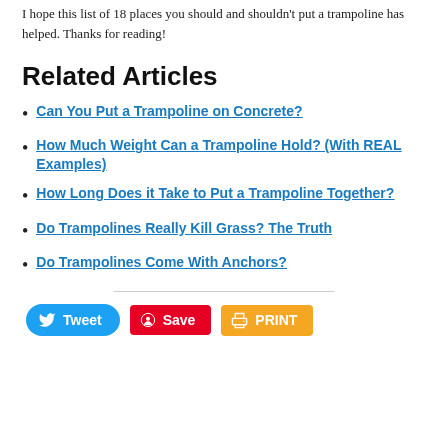I hope this list of 18 places you should and shouldn't put a trampoline has helped. Thanks for reading!
Related Articles
Can You Put a Trampoline on Concrete?
How Much Weight Can a Trampoline Hold? (With REAL Examples)
How Long Does it Take to Put a Trampoline Together?
Do Trampolines Really Kill Grass? The Truth
Do Trampolines Come With Anchors?
[Figure (infographic): Social sharing buttons: Tweet (Twitter/blue), Save (Pinterest/red), PRINT (orange with printer icon)]